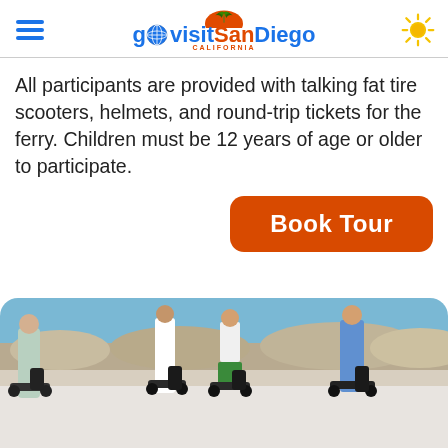go visit San Diego (California)
All participants are provided with talking fat tire scooters, helmets, and round-trip tickets for the ferry. Children must be 12 years of age or older to participate.
[Figure (other): Book Tour button — orange rounded rectangle with white bold text]
[Figure (photo): Group of people with fat tire scooters standing at a waterfront wall with rocks and ocean in the background]